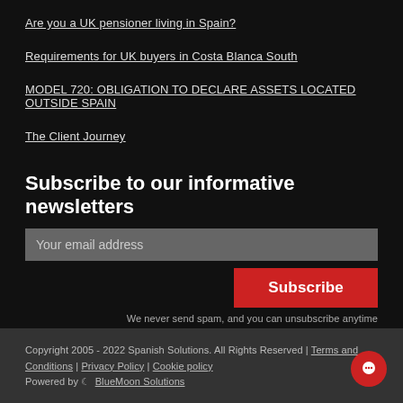Are you a UK pensioner living in Spain?
Requirements for UK buyers in Costa Blanca South
MODEL 720: OBLIGATION TO DECLARE ASSETS LOCATED OUTSIDE SPAIN
The Client Journey
Subscribe to our informative newsletters
Your email address
Subscribe
We never send spam, and you can unsubscribe anytime
Copyright 2005 - 2022 Spanish Solutions. All Rights Reserved | Terms and Conditions | Privacy Policy | Cookie policy
Powered by BlueMoon Solutions